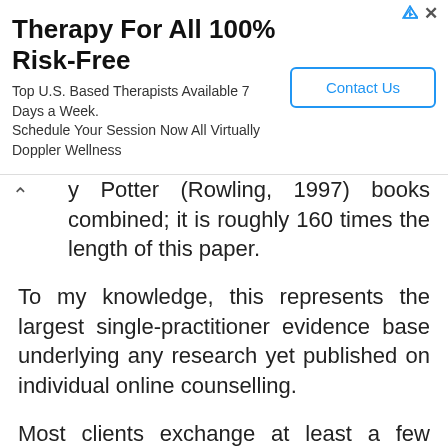[Figure (other): Advertisement banner: 'Therapy For All 100% Risk-Free' with subtitle 'Top U.S. Based Therapists Available 7 Days a Week. Schedule Your Session Now All Virtually Doppler Wellness' and a 'Contact Us' button]
y Potter (Rowling, 1997) books combined; it is roughly 160 times the length of this paper.
To my knowledge, this represents the largest single-practitioner evidence base underlying any research yet published on individual online counselling.
Most clients exchange at least a few thousand words over a period of weeks or months, while some communicate regularly for a year or more; in view of these volumes, I implement a waiting list whenever concurrent client numbers exceed the low teens. This client